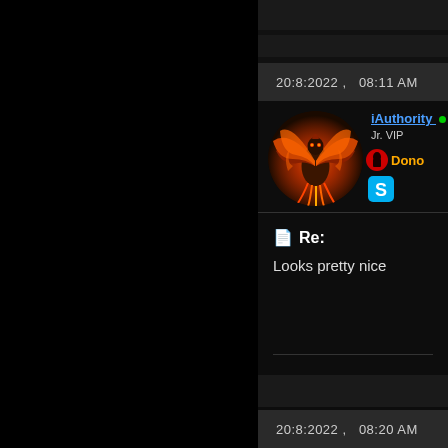20:8:2022 ,   08:11 AM
[Figure (photo): Circular avatar showing a fiery phoenix bird with orange and red flames, dark background]
iAuthority (online) Jr. VIP Donor [Skype icon]
Re:
Looks pretty nice
20:8:2022 ,   08:20 AM